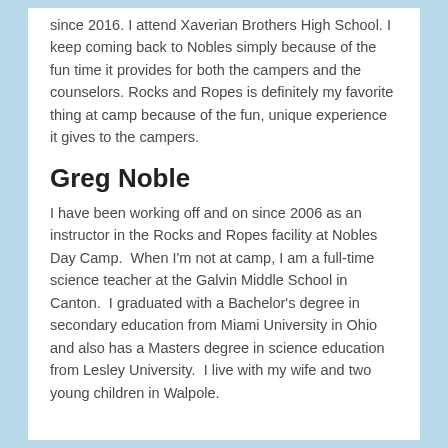since 2016. I attend Xaverian Brothers High School. I keep coming back to Nobles simply because of the fun time it provides for both the campers and the counselors. Rocks and Ropes is definitely my favorite thing at camp because of the fun, unique experience it gives to the campers.
Greg Noble
I have been working off and on since 2006 as an instructor in the Rocks and Ropes facility at Nobles Day Camp.  When I'm not at camp, I am a full-time science teacher at the Galvin Middle School in Canton.  I graduated with a Bachelor's degree in secondary education from Miami University in Ohio and also has a Masters degree in science education from Lesley University.  I live with my wife and two young children in Walpole.